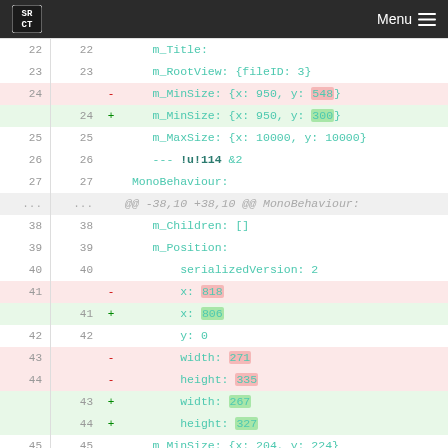SRCT Menu
Diff view of code changes showing modifications to m_MinSize, m_Position x, width, and height values
22  22      m_Title:
23  23      m_RootView: {fileID: 3}
24     -    m_MinSize: {x: 950, y: 548}
    24  +    m_MinSize: {x: 950, y: 300}
25  25      m_MaxSize: {x: 10000, y: 10000}
26  26      --- !u!114 &2
27  27   MonoBehaviour:
...  ...  @@ -38,10 +38,10 @@ MonoBehaviour:
38  38      m_Children: []
39  39      m_Position:
40  40          serializedVersion: 2
41     -        x: 818
    41  +        x: 806
42  42          y: 0
43     -        width: 271
44     -        height: 335
    43  +        width: 267
    44  +        height: 327
45  45      m_MinSize: {x: 204, y: 224}
46  46      m_MaxSize: {x: 4004, y: 4024}